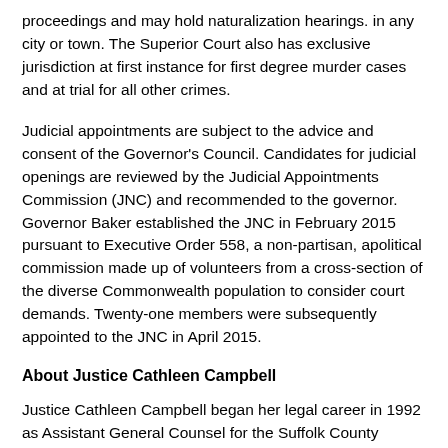proceedings and may hold naturalization hearings. in any city or town. The Superior Court also has exclusive jurisdiction at first instance for first degree murder cases and at trial for all other crimes.
Judicial appointments are subject to the advice and consent of the Governor's Council. Candidates for judicial openings are reviewed by the Judicial Appointments Commission (JNC) and recommended to the governor. Governor Baker established the JNC in February 2015 pursuant to Executive Order 558, a non-partisan, apolitical commission made up of volunteers from a cross-section of the diverse Commonwealth population to consider court demands. Twenty-one members were subsequently appointed to the JNC in April 2015.
About Justice Cathleen Campbell
Justice Cathleen Campbell began her legal career in 1992 as Assistant General Counsel for the Suffolk County Sheriff's Department, where she represented the department in civil litigation